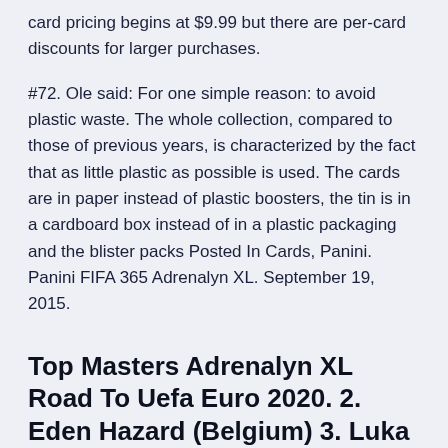card pricing begins at $9.99 but there are per-card discounts for larger purchases.
#72. Ole said: For one simple reason: to avoid plastic waste. The whole collection, compared to those of previous years, is characterized by the fact that as little plastic as possible is used. The cards are in paper instead of plastic boosters, the tin is in a cardboard box instead of in a plastic packaging and the blister packs Posted In Cards, Panini. Panini FIFA 365 Adrenalyn XL. September 19, 2015.
Top Masters Adrenalyn XL Road To Uefa Euro 2020. 2. Eden Hazard (Belgium) 3. Luka Modrić (Croatia) 4. Harry Kane (England) 5. Dembélé...